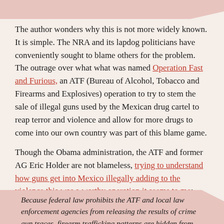The author wonders why this is not more widely known. It is simple. The NRA and its lapdog politicians have conveniently sought to blame others for the problem. The outrage over what what was named Operation Fast and Furious, an ATF (Bureau of Alcohol, Tobacco and Firearms and Explosives) operation to try to stem the sale of illegal guns used by the Mexican drug cartel to reap terror and violence and allow for more drugs to come into our own country was part of this blame game.
Though the Obama administration, the ATF and former AG Eric Holder are not blameless, trying to understand how guns get into Mexico illegally adding to the violence this was a worthy operation it seems to me:
Because federal law prohibits the ATF and local law enforcement agencies from releasing the results of crime gun traces, firearm trafficking patterns are hidden from public view. The trove of records reviewed